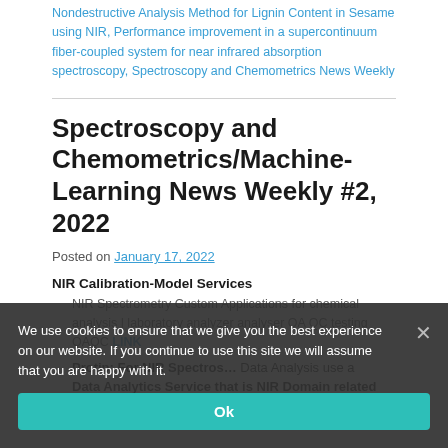Nondestructive Analysis Method for Lignin Content in Sesame using NIR, Performance improvement in a supercontinuum fiber-coupled system for near infrared absorption spectroscopy, Spectroscopy and Chemometrics News Weekly
Spectroscopy and Chemometrics/Machine-Learning News Weekly #2, 2022
Posted on January 17, 2022
NIR Calibration-Model Services
NIR Spectrometry Custom Applications for chemical analysis | laboratory analyzer analyser QA QC testing QAQC LINK
Protip: For NIR Spectros… Data Analysis use a Data Analytics Service that is NIR Domain related